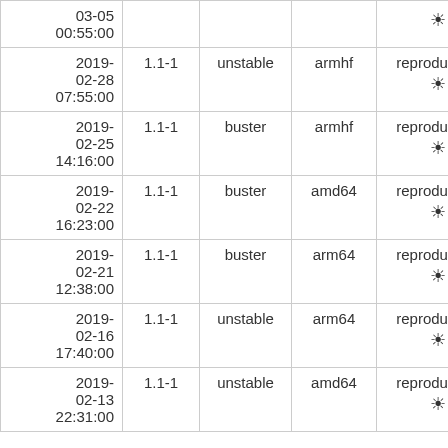| Date | Version | Suite | Arch | Status | Duration |
| --- | --- | --- | --- | --- | --- |
| 2019-03-05 00:55:00 |  |  |  | reproducible ☀ |  |
| 2019-02-28 07:55:00 | 1.1-1 | unstable | armhf | reproducible ☀ | 8m 26 |
| 2019-02-25 14:16:00 | 1.1-1 | buster | armhf | reproducible ☀ | 4m 33 |
| 2019-02-22 16:23:00 | 1.1-1 | buster | amd64 | reproducible ☀ | 2m 0 |
| 2019-02-21 12:38:00 | 1.1-1 | buster | arm64 | reproducible ☀ | 3m 26 |
| 2019-02-16 17:40:00 | 1.1-1 | unstable | arm64 | reproducible ☀ | 2m 39 |
| 2019-02-13 22:31:00 | 1.1-1 | unstable | amd64 | reproducible ☀ | 2m 37 |